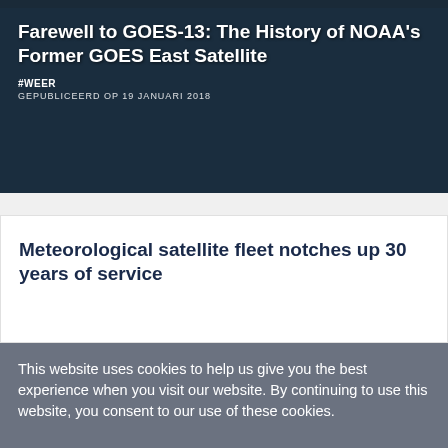[Figure (photo): Satellite image of Earth showing clouds and ocean, dark blue-green tones. Article card for 'Farewell to GOES-13: The History of NOAA's Former GOES East Satellite'.]
Farewell to GOES-13: The History of NOAA's Former GOES East Satellite
#WEER
GEPUBLICEERD OP 19 JANUARI 2018
Meteorological satellite fleet notches up 30 years of service
This website uses cookies to help us give you the best experience when you visit our website. By continuing to use this website, you consent to our use of these cookies.
Ok